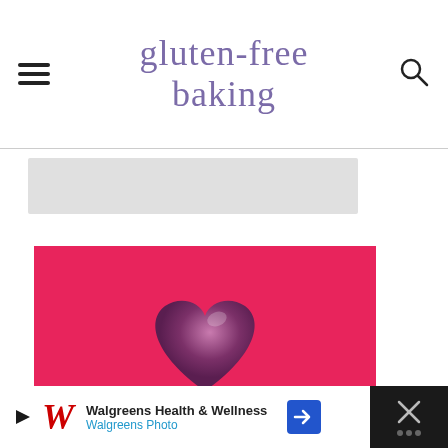gluten-free baking
[Figure (other): Gray advertisement rectangle placeholder]
[Figure (photo): Hot pink background with a dark purple/maroon glossy heart shape in the center]
Walgreens Health & Wellness
Walgreens Photo